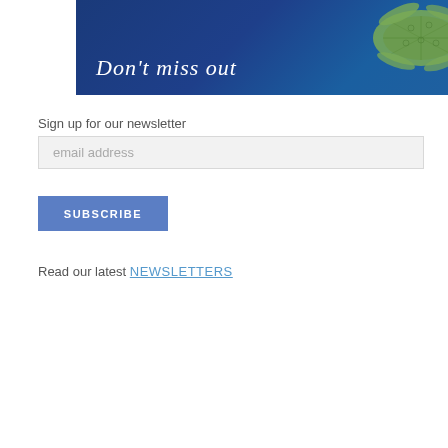[Figure (illustration): Dark blue banner with a sea turtle image on the right side and cursive italic white text 'Don't miss out' on the left]
Sign up for our newsletter
email address
SUBSCRIBE
Read our latest NEWSLETTERS